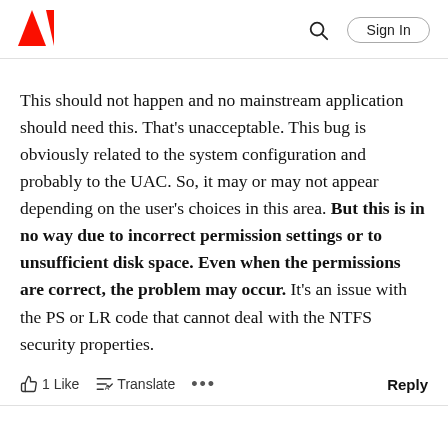Adobe logo | Search | Sign In
This should not happen and no mainstream application should need this. That's unacceptable. This bug is obviously related to the system configuration and probably to the UAC. So, it may or may not appear depending on the user's choices in this area. But this is in no way due to incorrect permission settings or to unsifficient disk space. Even when the permissions are correct, the problem may occur. It's an issue with the PS or LR code that cannot deal with the NTFS security properties.
1 Like  Translate  ...  Reply